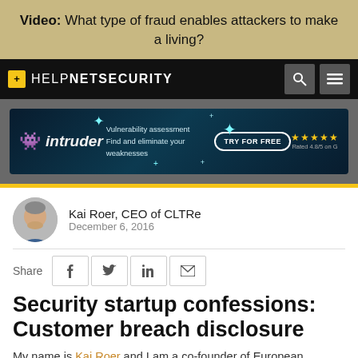Video: What type of fraud enables attackers to make a living?
[Figure (logo): Help Net Security navigation bar with logo, search and menu icons]
[Figure (screenshot): Intruder ad banner: Vulnerability assessment, Find and eliminate your weaknesses, TRY FOR FREE, Rated 4.8/5 on G]
Kai Roer, CEO of CLTRe
December 6, 2016
Share
Security startup confessions: Customer breach disclosure
My name is Kai Roer and I am a co-founder of European